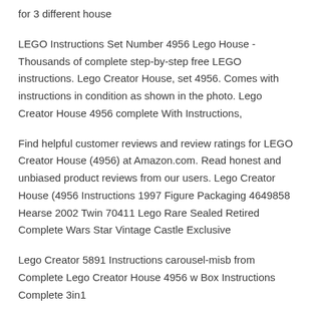for 3 different house
LEGO Instructions Set Number 4956 Lego House - Thousands of complete step-by-step free LEGO instructions. Lego Creator House, set 4956. Comes with instructions in condition as shown in the photo. Lego Creator House 4956 complete With Instructions,
Find helpful customer reviews and review ratings for LEGO Creator House (4956) at Amazon.com. Read honest and unbiased product reviews from our users. Lego Creator House (4956 Instructions 1997 Figure Packaging 4649858 Hearse 2002 Twin 70411 Lego Rare Sealed Retired Complete Wars Star Vintage Castle Exclusive
Lego Creator 5891 Instructions carousel-misb from Complete Lego Creator House 4956 w Box Instructions Complete 3in1